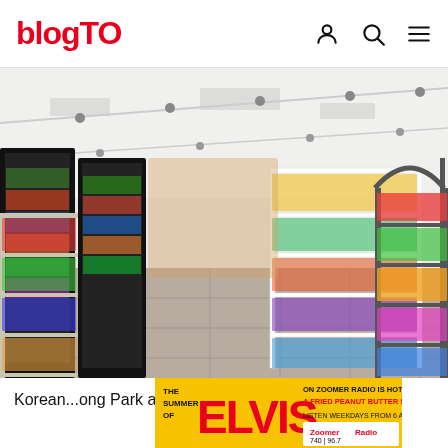blogTO
[Figure (photo): Interior of a Korean convenience store with white shelves stocked with Asian snacks and packaged foods, refrigerators on the left, a checkout counter in the background, and bright track lighting on white ceilings.]
[Figure (photo): Advertisement banner for Zoomer Radio: 'The Summer of ELVIS ON ZOOMER RADIO IS HOTTER THAN A FRIED PEANUT BUTTER SANDWICH. LISTEN WEEKDAYS FROM 6 AM - 10 AM' with Zoomer Radio logo showing 740 and 96.7 frequencies.]
Korean ... ong Park and Eunyou... ea with few other